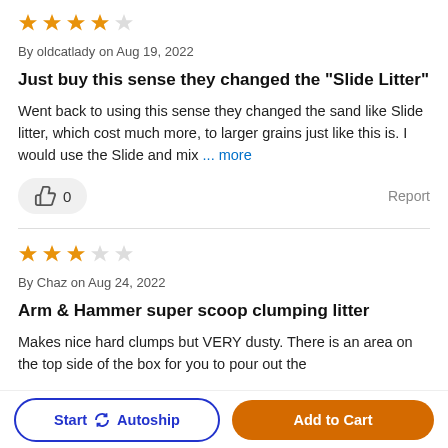[Figure (other): 4 out of 5 orange stars rating]
By oldcatlady on Aug 19, 2022
Just buy this sense they changed the "Slide Litter"
Went back to using this sense they changed the sand like Slide litter, which cost much more, to larger grains just like this is. I would use the Slide and mix ... more
0  Report
[Figure (other): 3 out of 5 orange stars rating]
By Chaz on Aug 24, 2022
Arm & Hammer super scoop clumping litter
Makes nice hard clumps but VERY dusty. There is an area on the top side of the box for you to pour out the
Start Autoship  Add to Cart